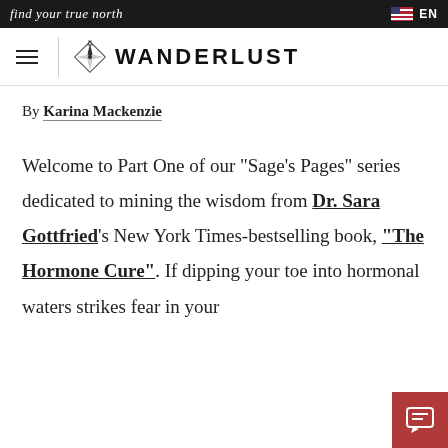find your true north | EN
[Figure (logo): Wanderlust logo with compass icon and hamburger menu navigation bar]
By Karina Mackenzie
Welcome to Part One of our “Sage’s Pages” series dedicated to mining the wisdom from Dr. Sara Gottfried’s New York Times-bestselling book, “The Hormone Cure”. If dipping your toe into hormonal waters strikes fear in your